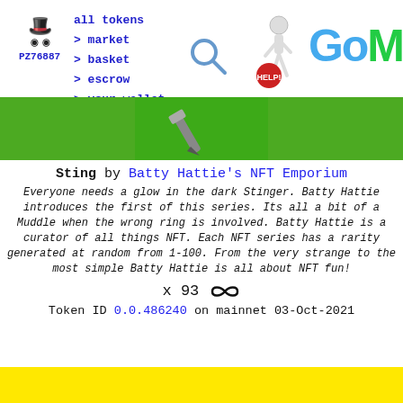all tokens > market > basket > escrow > your wallet | PZ76887
[Figure (screenshot): NFT image showing a pen/stinger on green background]
Sting by Batty Hattie's NFT Emporium
Everyone needs a glow in the dark Stinger. Batty Hattie introduces the first of this series. Its all a bit of a Muddle when the wrong ring is involved. Batty Hattie is a curator of all things NFT. Each NFT series has a rarity generated at random from 1-100. From the very strange to the most simple Batty Hattie is all about NFT fun!
x 93 ∞
Token ID 0.0.486240 on mainnet 03-Oct-2021